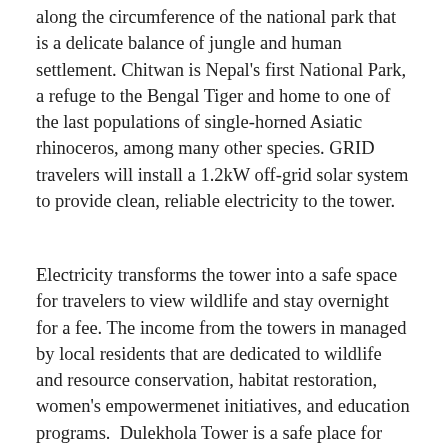along the circumference of the national park that is a delicate balance of jungle and human settlement. Chitwan is Nepal's first National Park, a refuge to the Bengal Tiger and home to one of the last populations of single-horned Asiatic rhinoceros, among many other species. GRID travelers will install a 1.2kW off-grid solar system to provide clean, reliable electricity to the tower.
Electricity transforms the tower into a safe space for travelers to view wildlife and stay overnight for a fee. The income from the towers in managed by local residents that are dedicated to wildlife and resource conservation, habitat restoration, women's empowermenet initiatives, and education programs.  Dulekhola Tower is a safe place for travelers to stay while visiting Chitwan and observing the wildlife the park protects. The towers create job opportunities for local residents who support its operation. Income from travelers that stay at the towers supports a